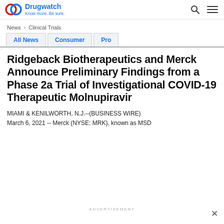Drugwatch — Know more. Be sure.
News > Clinical Trials
All News | Consumer | Pro
Ridgeback Biotherapeutics and Merck Announce Preliminary Findings from a Phase 2a Trial of Investigational COVID-19 Therapeutic Molnupiravir
MIAMI & KENILWORTH, N.J.--(BUSINESS WIRE)
March 6, 2021 -- Merck (NYSE: MRK), known as MSD
ADVERTISEMENT